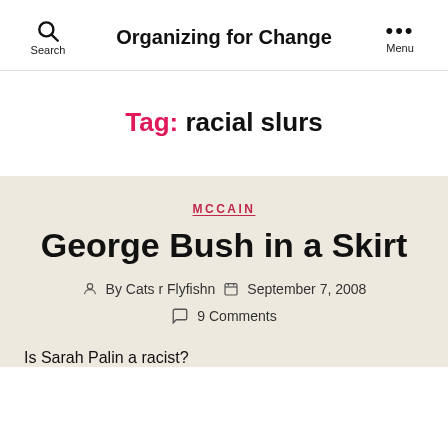Search | Organizing for Change | Menu
Tag: racial slurs
MCCAIN
George Bush in a Skirt
By Cats r Flyfishn  September 7, 2008  9 Comments
Is Sarah Palin a racist?